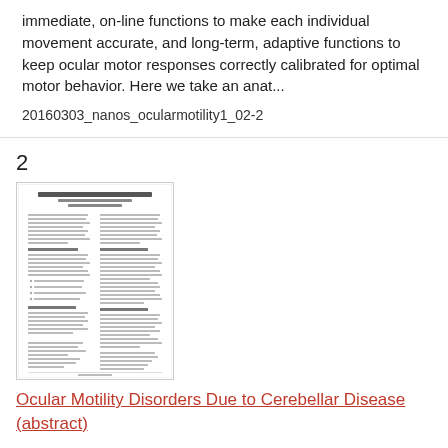immediate, on-line functions to make each individual movement accurate, and long-term, adaptive functions to keep ocular motor responses correctly calibrated for optimal motor behavior. Here we take an anat...
20160303_nanos_ocularmotility1_02-2
2
[Figure (screenshot): Thumbnail image of a document page titled 'Ocular Motility Disorders Due to Cerebellar Disease' showing two-column text layout.]
Ocular Motility Disorders Due to Cerebellar Disease (abstract)
David S. Zee MD, Departments of Neurology, Ophthalmology, Neuroscience, Otolaryngology -